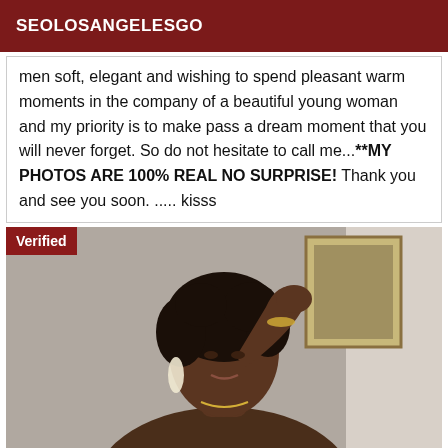SEOLOSANGELESGO
men soft, elegant and wishing to spend pleasant warm moments in the company of a beautiful young woman and my priority is to make pass a dream moment that you will never forget. So do not hesitate to call me...**MY PHOTOS ARE 100% REAL NO SURPRISE! Thank you and see you soon. ..... kisss
[Figure (photo): Photo of a woman with dark curly hair, wearing earrings and bracelets, posing with hand raised to hair, with a painting visible in background. A 'Verified' badge appears in the top-left corner.]